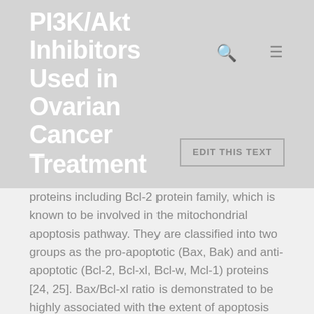PI3K/Akt Inhibitors Used in Ovarian Cancer Treatment
proteins including Bcl-2 protein family, which is known to be involved in the mitochondrial apoptosis pathway. They are classified into two groups as the pro-apoptotic (Bax, Bak) and anti-apoptotic (Bcl-2, Bcl-xl, Bcl-w, Mcl-1) proteins [24, 25]. Bax/Bcl-xl ratio is demonstrated to be highly associated with the extent of apoptosis [26]. Here,